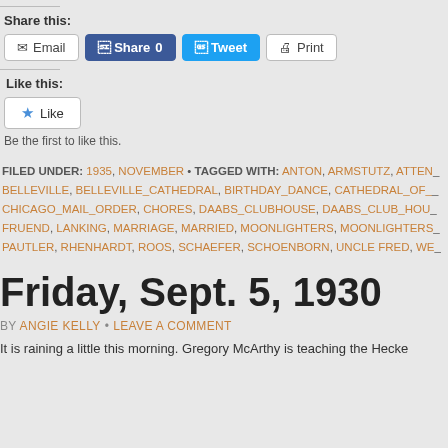Share this:
Email  Share 0  Tweet  Print
Like this:
Like
Be the first to like this.
FILED UNDER: 1935, NOVEMBER • TAGGED WITH: ANTON, ARMSTUTZ, ATTEN, BELLEVILLE, BELLEVILLE_CATHEDRAL, BIRTHDAY_DANCE, CATHEDRAL_OF_, CHICAGO_MAIL_ORDER, CHORES, DAABS_CLUBHOUSE, DAABS_CLUB_HOU, FRUEND, LANKING, MARRIAGE, MARRIED, MOONLIGHTERS, MOONLIGHTERS, PAUTLER, RHENHARDT, ROOS, SCHAEFER, SCHOENBORN, UNCLE FRED, WE
Friday, Sept. 5, 1930
BY ANGIE KELLY • LEAVE A COMMENT
It is raining a little this morning. Gregory McArthy is teaching the Hecke…